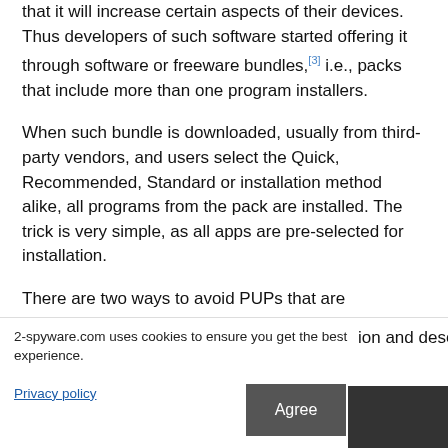that it will increase certain aspects of their devices. Thus developers of such software started offering it through software or freeware bundles,[3] i.e., packs that include more than one program installers.
When such bundle is downloaded, usually from third-party vendors, and users select the Quick, Recommended, Standard or installation method alike, all programs from the pack are installed. The trick is very simple, as all apps are pre-selected for installation.
There are two ways to avoid PUPs that are distributed this way:
1.  Download all software directly from the developers.
2-spyware.com uses cookies to ensure you get the best experience.
ion and deselect